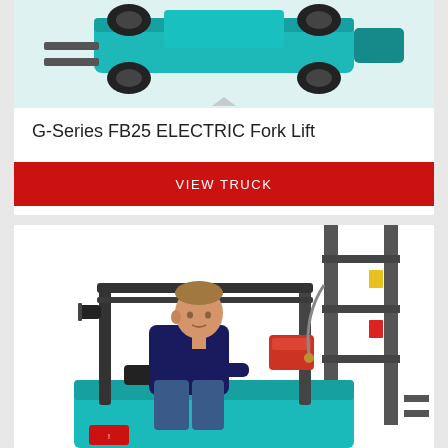[Figure (photo): Top-view / rear-angle photo of a teal/turquoise electric forklift (G-Series FB25) on white background, showing the rear wheels and body.]
G-Series FB25 ELECTRIC Fork Lift
VIEW TRUCK
[Figure (photo): Photo of a man seated on a teal/turquoise electric forklift (G-Series), looking to the left. The forklift mast and lift mechanism are visible on the right side. The operator is wearing a dark navy sweater and jeans.]